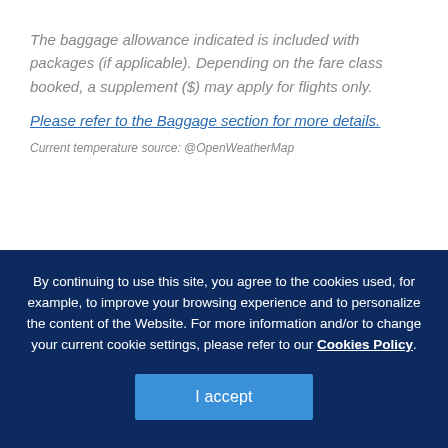The baggage allowance indicated is included with packages (if applicable). Depending on the fare class booked, a supplement ($) may apply for flights only.
Please refer to the Baggage section for more details.
Current temperature source: @OpenWeatherMap
Montreal: Home of the Canadiens, the
By continuing to use this site, you agree to the cookies used, for example, to improve your browsing experience and to personalize the content of the Website. For more information and/or to change your current cookie settings, please refer to our Cookies Policy.
I accept